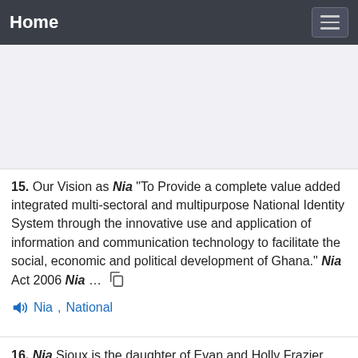Home
15. Our Vision as Nia "To Provide a complete value added integrated multi-sectoral and multipurpose National Identity System through the innovative use and application of information and communication technology to facilitate the social, economic and political development of Ghana." Nia Act 2006 Nia …
Nia, National
16. Nia Sioux is the daughter of Evan and Holly Frazier